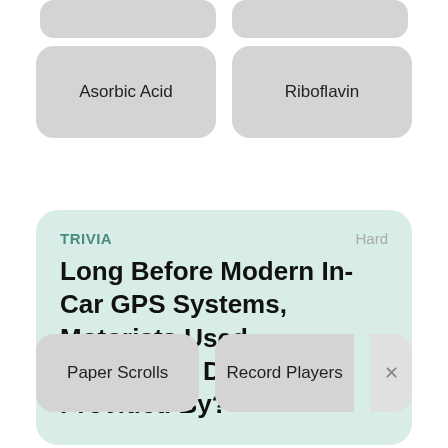[Figure (screenshot): Partial top row of two grey rounded button placeholders, cropped at top]
Asorbic Acid
Riboflavin
TRIVIA
Hard
Long Before Modern In-Car GPS Systems, Motorists Used Automated Directions Provided By?
Paper Scrolls
Record Players